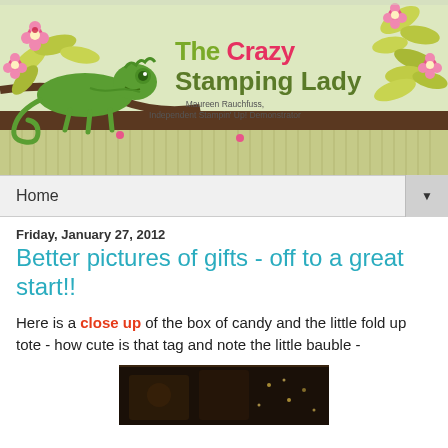[Figure (illustration): Blog header banner for 'The Crazy Stamping Lady' featuring a green chameleon on a branch with pink flowers and yellow-green leaves. Text reads 'The Crazy Stamping Lady' and subtitle 'Maureen Rauchfuss, Independent Stampin' Up! Demonstrator']
Home
Friday, January 27, 2012
Better pictures of gifts - off to a great start!!
Here is a close up of the box of candy and the little fold up tote - how cute is that tag and note the little bauble -
[Figure (photo): Partial photo of wrapped gifts or crafted items, dark background]